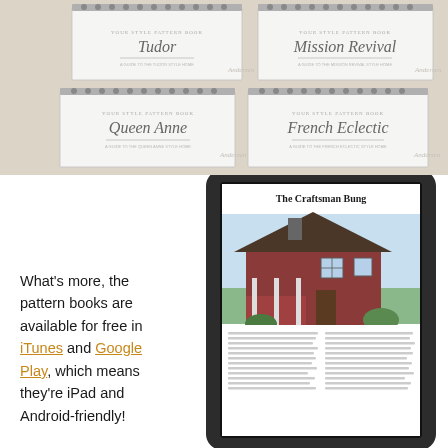[Figure (photo): Photo of multiple spiral-bound architectural pattern books laid on a surface. Books visible include Tudor, Mission Revival, Queen Anne, and French Eclectic titles.]
What's more, the pattern books are available for free in iTunes and Google Play, which means they're iPad and Android-friendly!
[Figure (photo): An iPad tablet displaying a digital version of 'The Craftsman Bungalow' pattern book, showing an illustration of a craftsman-style house and text content.]